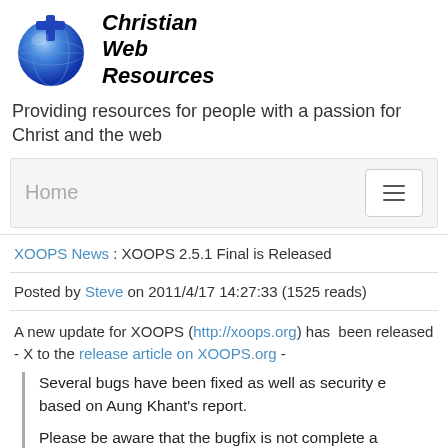[Figure (logo): Christian Web Resources logo: a blue globe with a cross, next to bold italic text 'Christian Web Resources']
Providing resources for people with a passion for Christ and the web
Home
XOOPS News : XOOPS 2.5.1 Final is Released
Posted by Steve on 2011/4/17 14:27:33 (1525 reads)
A new update for XOOPS (http://xoops.org) has been released - X to the release article on XOOPS.org -
Several bugs have been fixed as well as security e based on Aung Khant's report.
Please be aware that the bugfix is not complete a be following small but frequent release rule so tha